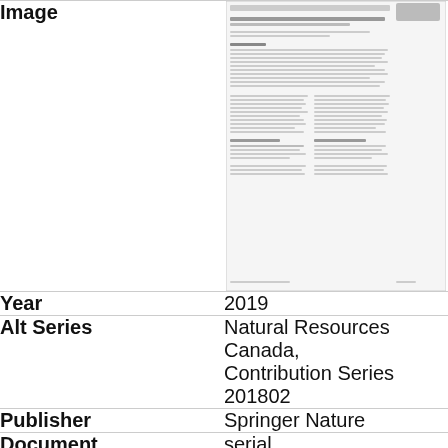| Field | Value |
| --- | --- |
| Image | [thumbnail of document page] |
| Year | 2019 |
| Alt Series | Natural Resources Canada, Contribution Series 2018026 |
| Publisher | Springer Nature |
| Document | serial |
| Lang. | English |
| Media | paper; on-line; digital |